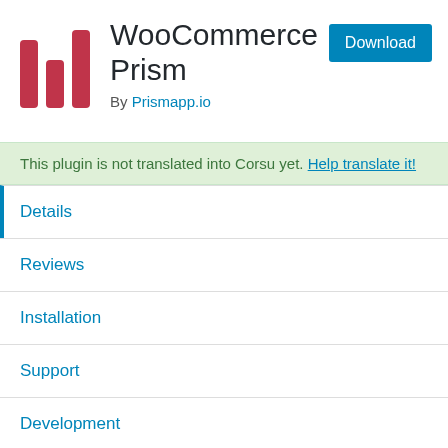[Figure (logo): WooCommerce Prism logo: three vertical bars in crimson/red color of varying heights]
WooCommerce Prism
By Prismapp.io
Download
This plugin is not translated into Corsu yet. Help translate it!
Details
Reviews
Installation
Support
Development
Description
Prismapp.io product recommendations